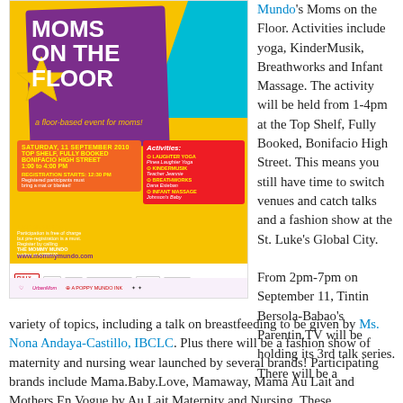[Figure (illustration): Event poster for 'Moms on the Floor' - a floor-based event for moms, Saturday 11 September 2010, Top Shelf, Fully Booked, Bonifacio High Street, 1:00 to 4:00 PM. Activities include Laughter Yoga, KinderMusik, Breathworks, Infant Massage. Sponsors include Fully Booked, Cytioe, RCBC Savings Bank, Citibank, Urban Mom, and others.]
Mundo's Moms on the Floor. Activities include yoga, KinderMusik, Breathworks and Infant Massage. The activity will be held from 1-4pm at the Top Shelf, Fully Booked, Bonifacio High Street. This means you still have time to switch venues and catch talks and a fashion show at the St. Luke's Global City.
From 2pm-7pm on September 11, Tintin Bersola-Babao's Parentin.TV will be holding its 3rd talk series. There will be a variety of topics, including a talk on breastfeeding to be given by Ms. Nona Andaya-Castillo, IBCLC. Plus there will be a fashion show of maternity and nursing wear launched by several brands! Participating brands include Mama.Baby.Love, Mamaway, Mama Au Lait and Mothers En Vogue by Au Lait Maternity and Nursing. These mompreneurs will also be setting up booths outside the auditorium from 10am-7pm. Moms who visit Will be able to